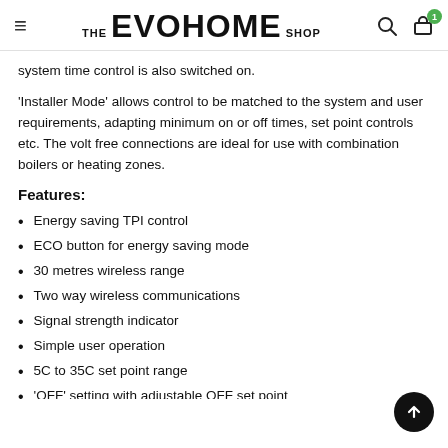THE EVOHOME SHOP
system time control is also switched on.
'Installer Mode' allows control to be matched to the system and user requirements, adapting minimum on or off times, set point controls etc. The volt free connections are ideal for use with combination boilers or heating zones.
Features:
Energy saving TPI control
ECO button for energy saving mode
30 metres wireless range
Two way wireless communications
Signal strength indicator
Simple user operation
5C to 35C set point range
'OFF' setting with adjustable OFF set point